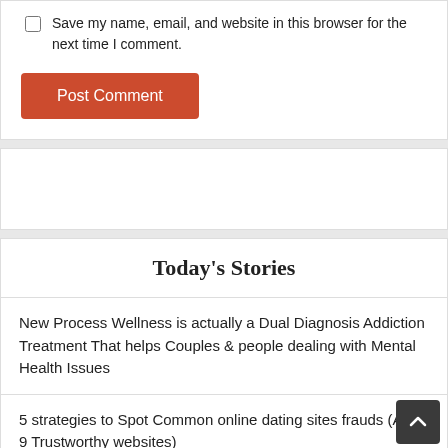Save my name, email, and website in this browser for the next time I comment.
Post Comment
Today's Stories
New Process Wellness is actually a Dual Diagnosis Addiction Treatment That helps Couples & people dealing with Mental Health Issues
5 strategies to Spot Common online dating sites frauds (And 9 Trustworthy websites)
American Association of University ladies Empowers gir…